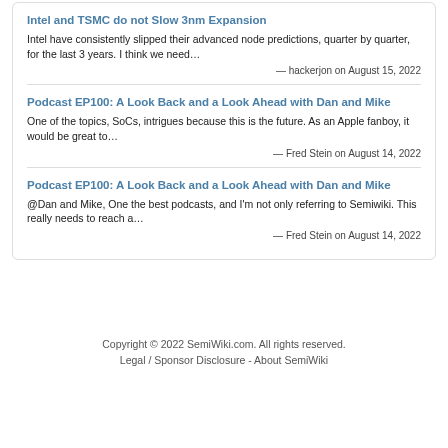Intel and TSMC do not Slow 3nm Expansion
Intel have consistently slipped their advanced node predictions, quarter by quarter, for the last 3 years. I think we need…
— hackerjon on August 15, 2022
Podcast EP100: A Look Back and a Look Ahead with Dan and Mike
One of the topics, SoCs, intrigues because this is the future. As an Apple fanboy, it would be great to…
— Fred Stein on August 14, 2022
Podcast EP100: A Look Back and a Look Ahead with Dan and Mike
@Dan and Mike, One the best podcasts, and I'm not only referring to Semiwiki. This really needs to reach a…
— Fred Stein on August 14, 2022
Copyright © 2022 SemiWiki.com. All rights reserved. Legal / Sponsor Disclosure - About SemiWiki